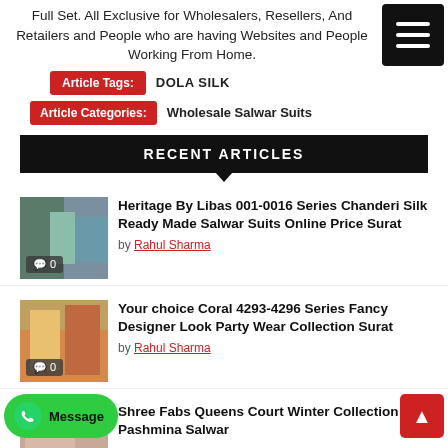Full Set. All Exclusive for Wholesalers, Resellers, And Retailers and People who are having Websites and People Working From Home.
Article Tags: DOLA SILK
Article Categories: Wholesale Salwar Suits
RECENT ARTICLES
Heritage By Libas 001-0016 Series Chanderi Silk Ready Made Salwar Suits Online Price Surat
by Rahul Sharma
Your choice Coral 4293-4296 Series Fancy Designer Look Party Wear Collection Surat
by Rahul Sharma
Shree Fabs Queens Court Winter Collection Pashmina Salwar